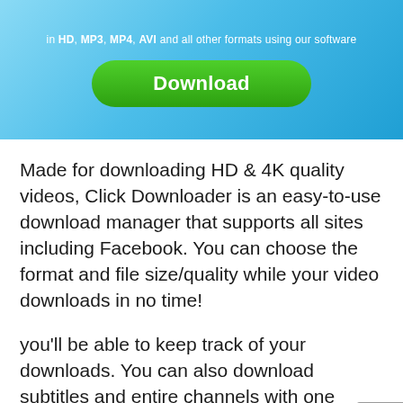[Figure (screenshot): A blue gradient banner with small white text reading 'in HD, MP3, MP4, AVI and all other formats using our software' above a large green rounded Download button with white bold text.]
Made for downloading HD & 4K quality videos, Click Downloader is an easy-to-use download manager that supports all sites including Facebook. You can choose the format and file size/quality while your video downloads in no time!
you'll be able to keep track of your downloads. You can also download subtitles and entire channels with one simple interface!
Features: